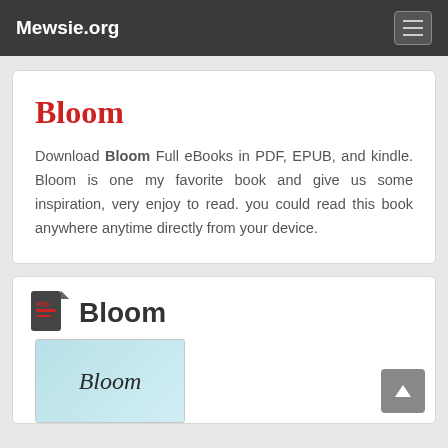Mewsie.org
Bloom
Download Bloom Full eBooks in PDF, EPUB, and kindle. Bloom is one my favorite book and give us some inspiration, very enjoy to read. you could read this book anywhere anytime directly from your device.
Bloom
[Figure (illustration): Book cover preview showing cursive text 'Bloom' on a light blue background]